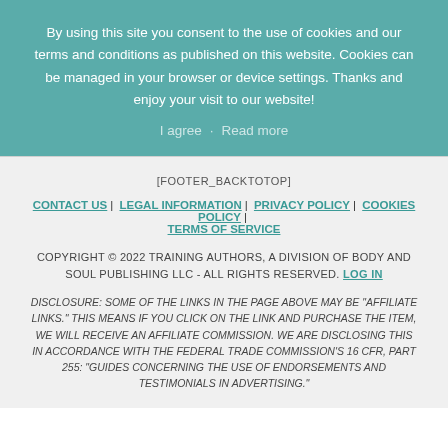By using this site you consent to the use of cookies and our terms and conditions as published on this website. Cookies can be managed in your browser or device settings. Thanks and enjoy your visit to our website!
I agree   Read more
[FOOTER_BACKTOTOP]
CONTACT US | LEGAL INFORMATION | PRIVACY POLICY | COOKIES POLICY | TERMS OF SERVICE
COPYRIGHT © 2022 TRAINING AUTHORS, A DIVISION OF BODY AND SOUL PUBLISHING LLC - ALL RIGHTS RESERVED. LOG IN
DISCLOSURE: SOME OF THE LINKS IN THE PAGE ABOVE MAY BE "AFFILIATE LINKS." THIS MEANS IF YOU CLICK ON THE LINK AND PURCHASE THE ITEM, WE WILL RECEIVE AN AFFILIATE COMMISSION. WE ARE DISCLOSING THIS IN ACCORDANCE WITH THE FEDERAL TRADE COMMISSION'S 16 CFR, PART 255: "GUIDES CONCERNING THE USE OF ENDORSEMENTS AND TESTIMONIALS IN ADVERTISING."